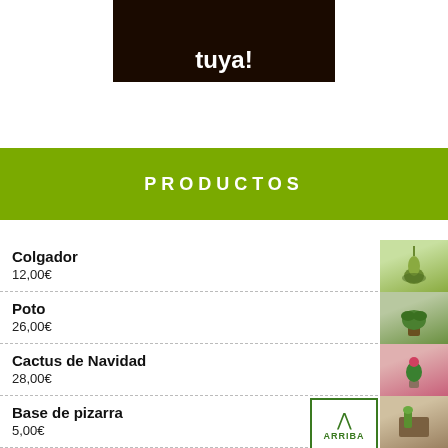[Figure (photo): Dark brown background image with white bold text reading 'tuya!' at the top center of the page]
PRODUCTOS
Colgador
12,00€
Poto
26,00€
Cactus de Navidad
28,00€
Base de pizarra
5,00€